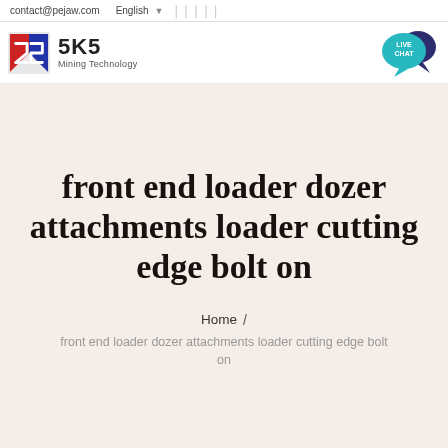contact@pejaw.com   English
[Figure (logo): SKS Mining Technology logo with red and blue geometric S icon, company name 'SKS' in bold and 'Mining Technology' below]
[Figure (illustration): Teal/cyan speech bubble with 'LIVE CHAT' text, dark blue chat bubble overlapping, positioned top right]
front end loader dozer attachments loader cutting edge bolt on
Home / front end loader dozer attachments loader cutting edge bolt on